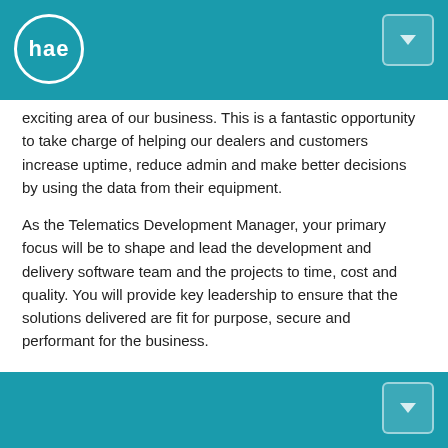HAE logo header with navigation button
exciting area of our business. This is a fantastic opportunity to take charge of helping our dealers and customers increase uptime, reduce admin and make better decisions by using the data from their equipment.
As the Telematics Development Manager, your primary focus will be to shape and lead the development and delivery software team and the projects to time, cost and quality. You will provide key leadership to ensure that the solutions delivered are fit for purpose, secure and performant for the business.
Your Responsibilities as a Telematics Development Manager:
Managing internal and external development teams.
These include software engineers, QA's, Product Owners and supporting roles.
Working with both internal and external clients.
Ensure project documentation is completed.
Navigation button footer